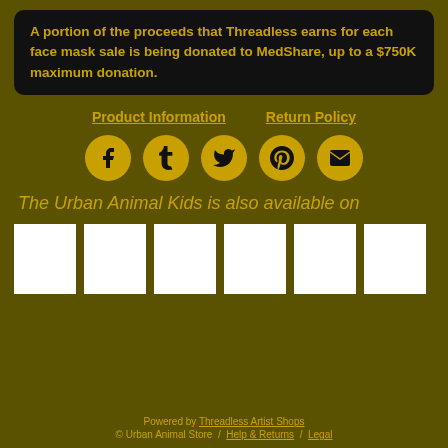A portion of the proceeds that Threadless earns for each face mask sale is being donated to MedShare, up to a $750K maximum donation.
Product Information
Return Policy
[Figure (infographic): Five social media icon circles: Facebook, Tumblr, Twitter, Pinterest, Email — gold circles with dark icons]
The Urban Animal Kids is also available on
[Figure (infographic): Six white thumbnail image boxes in a row representing product images on other platforms]
Powered by Threadless Artist Shops
© Urban Animal Store / Help & Returns / Legal